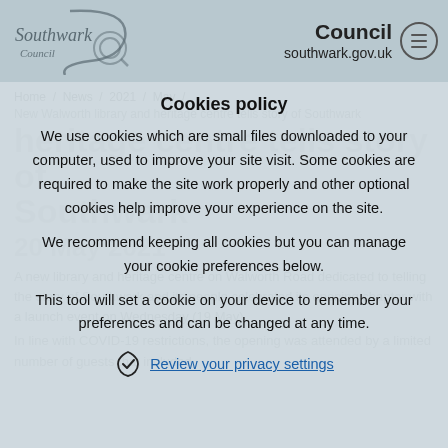Council southwark.gov.uk
Home / News / 2021 / May /
Cookies policy
New Walworth library and heritage centre tells story of Southwark
heritage centre tells story of Southwark
20 May 2021
A new library and heritage centre on Walworth Road dedicated to telling the story of Southwark and its people celebrated its opening chapter with a launch event on Wednesday (19 May)
We use cookies which are small files downloaded to your computer, used to improve your site visit. Some cookies are required to make the site work properly and other optional cookies help improve your experience on the site.
We recommend keeping all cookies but you can manage your cookie preferences below.
This tool will set a cookie on your device to remember your preferences and can be changed at any time.
In line with COVID-19 restrictions, the opening was attended by a limited number of guests that included
Review your privacy settings